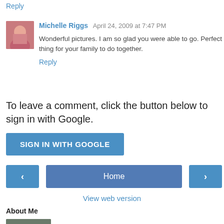Reply
Michelle Riggs  April 24, 2009 at 7:47 PM
Wonderful pictures. I am so glad you were able to go. Perfect thing for your family to do together.
Reply
To leave a comment, click the button below to sign in with Google.
[Figure (other): SIGN IN WITH GOOGLE button]
[Figure (other): Navigation: left arrow button, Home button, right arrow button]
View web version
About Me
[Figure (photo): Group photo thumbnail]
Amy